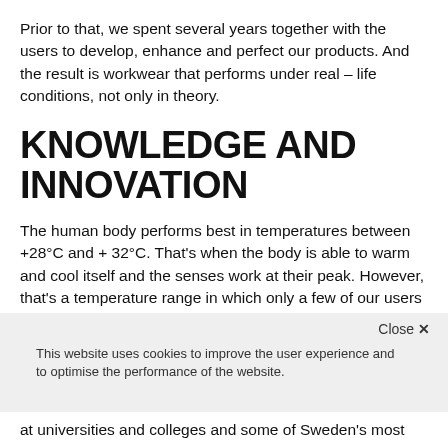Prior to that, we spent several years together with the users to develop, enhance and perfect our products. And the result is workwear that performs under real – life conditions, not only in theory.
KNOWLEDGE AND INNOVATION
The human body performs best in temperatures between +28°C and + 32°C. That's when the body is able to warm and cool itself and the senses work at their peak. However, that's a temperature range in which only a few of our users carry out their work. To perform at their best,
Close ✕
This website uses cookies to improve the user experience and to optimise the performance of the website.
at universities and colleges and some of Sweden's most